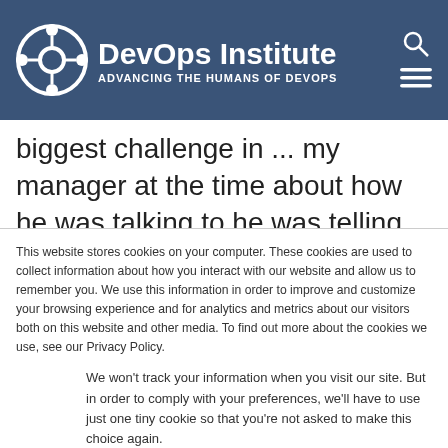DevOps Institute ADVANCING THE HUMANS OF DEVOPS
biggest challenge in ... talking to my manager at the time about how he was talking to he was telling me about all the different applications that came through
This website stores cookies on your computer. These cookies are used to collect information about how you interact with our website and allow us to remember you. We use this information in order to improve and customize your browsing experience and for analytics and metrics about our visitors both on this website and other media. To find out more about the cookies we use, see our Privacy Policy.
We won't track your information when you visit our site. But in order to comply with your preferences, we'll have to use just one tiny cookie so that you're not asked to make this choice again.
Accept | Decline